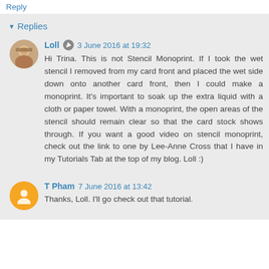Reply
▾ Replies
Loll  3 June 2016 at 19:32
Hi Trina. This is not Stencil Monoprint. If I took the wet stencil I removed from my card front and placed the wet side down onto another card front, then I could make a monoprint. It's important to soak up the extra liquid with a cloth or paper towel. With a monoprint, the open areas of the stencil should remain clear so that the card stock shows through. If you want a good video on stencil monoprint, check out the link to one by Lee-Anne Cross that I have in my Tutorials Tab at the top of my blog. Loll :)
T Pham  7 June 2016 at 13:42
Thanks, Loll. I'll go check out that tutorial.